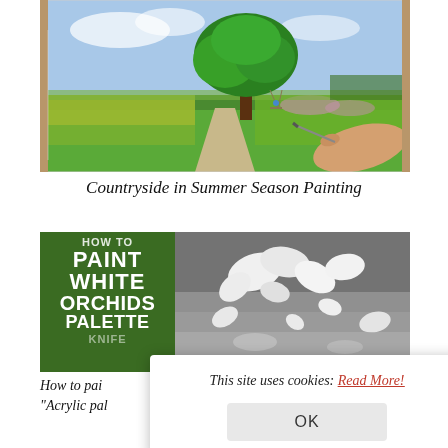[Figure (photo): Acrylic painting of countryside summer scene with large green tree, path, wildflower meadows and blue sky, shown being painted by hand with a brush]
Countryside in Summer Season Painting
[Figure (photo): Painting tutorial thumbnail showing green panel with HOW TO PAINT WHITE ORCHIDS PALETTE text on left, and photo of white orchids on dark background on right]
How to pai... "Acrylic pal...
This site uses cookies: Read More!
OK